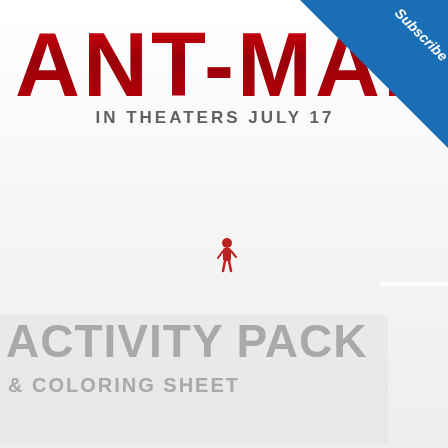[Figure (photo): Ant-Man movie promotional image showing the ANT-MAN logo in large bold red letters at top, the figure of Ant-Man small in center, with text IN THEATERS JULY 17 beneath the logo. Gray overlaid band at bottom with ACTIVITY PACK & COLORING SHEET text. Subscribe banner in top-right corner. Social share sidebar on right with 92 Facebook shares, Twitter and Pinterest buttons.]